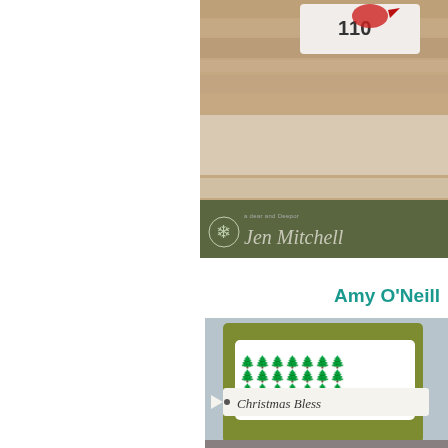[Figure (photo): Partial view of a Christmas card craft project with a dark olive green band at the bottom, a name 'Jen Mitchell' in italic handwriting style, a small snowflake embellishment, and a white tag with a bird, placed on a rustic wood background.]
Amy O'Neill
[Figure (photo): A handmade Christmas card on an olive green cardstock background, featuring a white panel with a repeated dark pine tree stamp pattern, and a tag strip with the text 'Christmas Blessings' in italic script, set atop a gray wood surface.]